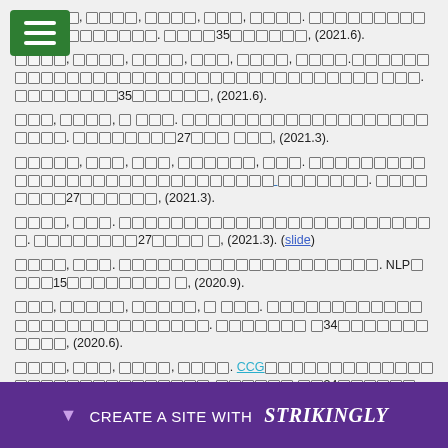[tofu chars], [tofu], [tofu], [tofu], [tofu]. [link text underlined]. [tofu]35[tofu], (2021.6).
[tofu chars], [tofu], [tofu], [tofu], [tofu], [tofu]. [link text underlined]. [tofu]35[tofu], (2021.6).
[tofu], [tofu], [tofu tofu]. [link underlined]. [tofu]27[tofu tofu], (2021.3).
[tofu chars], [tofu], [tofu], [tofu chars], [tofu]. [link underlined]. [tofu]27[tofu chars], (2021.3).
[tofu], [tofu]. [link underlined]. [tofu]27[tofu chars], (2021.3). (slide)
[tofu], [tofu]. [tofu link]. NLP[tofu]15[tofu chars], (2020.9).
[tofu], [tofu chars], [tofu chars], [tofu tofu]. [link underlined]. [tofu chars]34[tofu chars], (2020.6).
[tofu], [tofu], [tofu chars], [tofu chars]. CCG[link underlined]. [tofu chars]34[tofu chars], (2020.6).
[tofu], [tofu chars], [tofu chars], [tofu tofu]. [link underlined]. [tofu chars]26[tofu chars], ...
[tofu], ...an Res... [tofu]